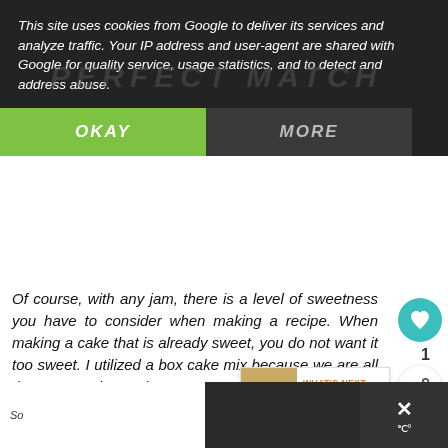This site uses cookies from Google to deliver its services and analyze traffic. Your IP address and user-agent are shared with Google for quality service, usage statistics, and to detect and address abuse.
OKAY
MORE
Of course, with any jam, there is a level of sweetness you have to consider when making a recipe. When making a cake that is already sweet, you do not want it too sweet. I utilized a box cake mix because we are all time saver these days. You can certainly use your favorite homemade cake recipe if you prefer. For me, it was a matter
[Figure (other): What's Next panel showing Easy Lemon Cake with thumbnail image]